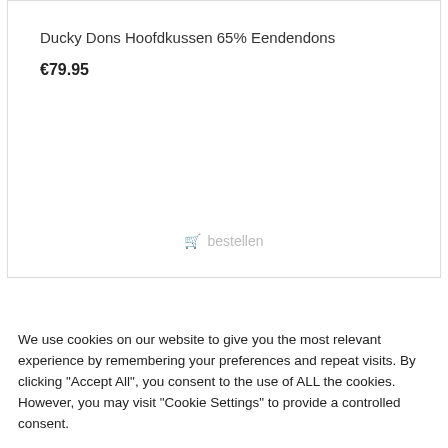Ducky Dons Hoofdkussen 65% Eendendons
€79.95
🛒 bestellen
[Figure (other): Teal/turquoise decorative band]
We use cookies on our website to give you the most relevant experience by remembering your preferences and repeat visits. By clicking "Accept All", you consent to the use of ALL the cookies. However, you may visit "Cookie Settings" to provide a controlled consent.
Cookie Settings
Accept All